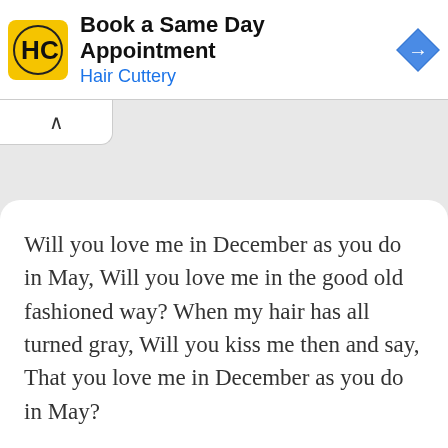[Figure (screenshot): Hair Cuttery advertisement banner with yellow logo showing HC initials, title 'Book a Same Day Appointment', subtitle 'Hair Cuttery' in blue, and a blue diamond navigation arrow icon on the right]
Will you love me in December as you do in May, Will you love me in the good old fashioned way? When my hair has all turned gray, Will you kiss me then and say, That you love me in December as you do in May?